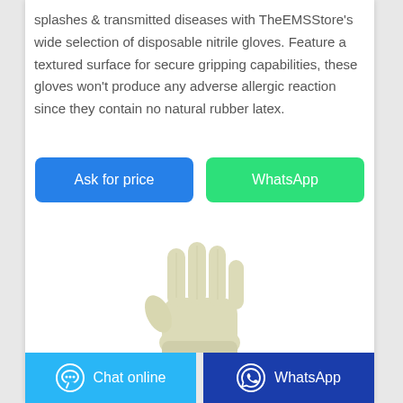splashes & transmitted diseases with TheEMSStore's wide selection of disposable nitrile gloves. Feature a textured surface for secure gripping capabilities, these gloves won't produce any adverse allergic reaction since they contain no natural rubber latex.
[Figure (other): Two buttons: 'Ask for price' (blue) and 'WhatsApp' (green)]
[Figure (photo): A single light-cream colored disposable nitrile/latex glove shown with fingers spread upward]
[Figure (other): Two footer buttons: 'Chat online' (light blue with chat icon) and 'WhatsApp' (dark blue with WhatsApp icon)]